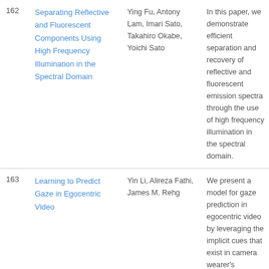| # | Title | Authors | Abstract |
| --- | --- | --- | --- |
| 162 | Separating Reflective and Fluorescent Components Using High Frequency Illumination in the Spectral Domain | Ying Fu, Antony Lam, Imari Sato, Takahiro Okabe, Yoichi Sato | In this paper, we demonstrate efficient separation and recovery of reflective and fluorescent emission spectra through the use of high frequency illumination in the spectral domain. |
| 163 | Learning to Predict Gaze in Egocentric Video | Yin Li, Alireza Fathi, James M. Rehg | We present a model for gaze prediction in egocentric video by leveraging the implicit cues that exist in camera wearer's behaviors. |
| 164 | Fine-Grained Categorization by Alignments | E. Gavves, B. Fernando, C.G.M. Snoek, A.W.M. Smeulders, T. | The aim of this paper is fine-grained categorization without human interaction. |